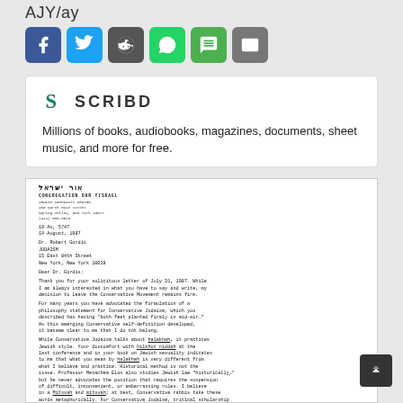AJY/ay
[Figure (infographic): Social sharing buttons: Facebook (blue), Twitter (light blue), Reddit (dark gray), WhatsApp (green), SMS (green), Email (gray)]
[Figure (screenshot): Scribd advertisement card with logo and tagline: Millions of books, audiobooks, magazines, documents, sheet music, and more for free.]
[Figure (screenshot): Preview of a scanned letter on Scribd from Congregation Ohr Yisrael, Jewish Community Center, 200 North Main Street, Spring Valley, New York 10977, dated 19 Av 5747 / 14 August 1987, addressed to Dr. Robert Gordis, JUDAISM, 15 East 84th Street, New York, New York 10028. The letter thanks Dr. Gordis for his letter of July 31, 1987, discusses the Conservative Movement, halakhah, hilkhot niddah, and related topics.]